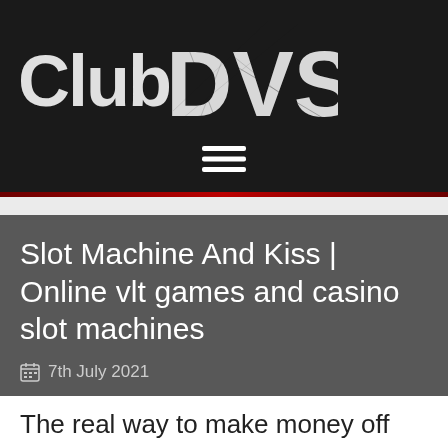[Figure (logo): Club DVS logo in white distressed/grunge font on dark background]
[Figure (other): Hamburger menu icon (three horizontal white lines) centered on dark background]
Slot Machine And Kiss | Online vlt games and casino slot machines
7th July 2021
The real way to make money off